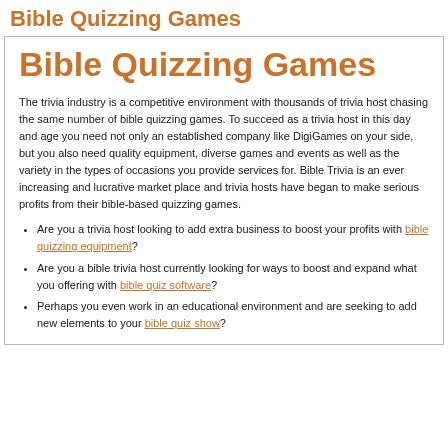Bible Quizzing Games
Bible Quizzing Games
The trivia industry is a competitive environment with thousands of trivia host chasing the same number of bible quizzing games. To succeed as a trivia host in this day and age you need not only an established company like DigiGames on your side, but you also need quality equipment, diverse games and events as well as the variety in the types of occasions you provide services for. Bible Trivia is an ever increasing and lucrative market place and trivia hosts have began to make serious profits from their bible-based quizzing games.
Are you a trivia host looking to add extra business to boost your profits with bible quizzing equipment?
Are you a bible trivia host currently looking for ways to boost and expand what you offering with bible quiz software?
Perhaps you even work in an educational environment and are seeking to add new elements to your bible quiz show?